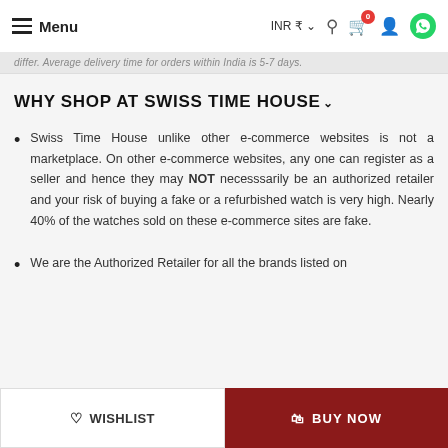Menu | INR ₹ | [search] [cart 0] [account] [whatsapp]
differ. Average delivery time for orders within India is 5-7 days.
WHY SHOP AT SWISS TIME HOUSE
Swiss Time House unlike other e-commerce websites is not a marketplace. On other e-commerce websites, any one can register as a seller and hence they may NOT necesssarily be an authorized retailer and your risk of buying a fake or a refurbished watch is very high. Nearly 40% of the watches sold on these e-commerce sites are fake.
We are the Authorized Retailer for all the brands listed on